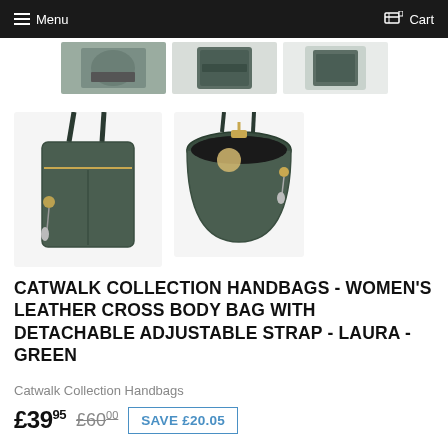Menu  Cart
[Figure (photo): Three thumbnail images of a green leather crossbody bag from different angles, shown at top of page]
[Figure (photo): Two larger thumbnail images of a green leather crossbody bag - front view showing strap and zipper with charms, and open view showing interior]
CATWALK COLLECTION HANDBAGS - WOMEN'S LEATHER CROSS BODY BAG WITH DETACHABLE ADJUSTABLE STRAP - LAURA - GREEN
Catwalk Collection Handbags
£39.95  £60.00  SAVE £20.05